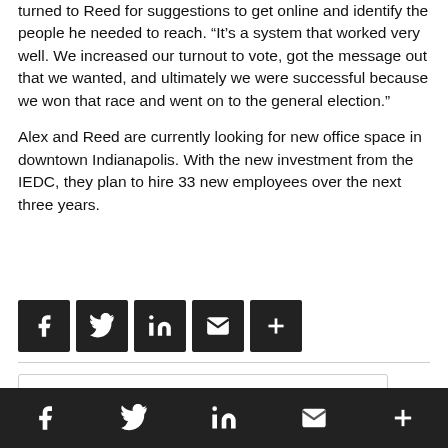turned to Reed for suggestions to get online and identify the people he needed to reach. “It’s a system that worked very well. We increased our turnout to vote, got the message out that we wanted, and ultimately we were successful because we won that race and went on to the general election.”
Alex and Reed are currently looking for new office space in downtown Indianapolis. With the new investment from the IEDC, they plan to hire 33 new employees over the next three years.
[Figure (infographic): Row of 5 social share icon buttons: Facebook, Twitter, LinkedIn, Email, More (+)]
[Figure (infographic): Bottom navigation bar with social share icons: Facebook, Twitter, LinkedIn, Email, More (+) on dark background]